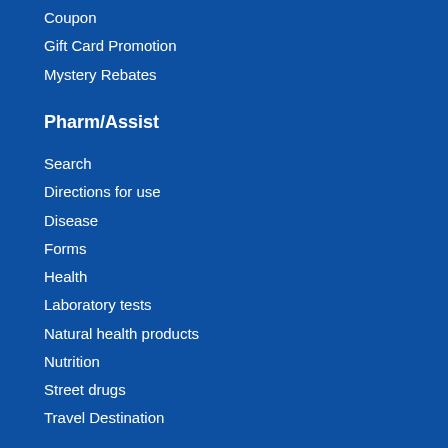Coupon
Gift Card Promotion
Mystery Rebates
Pharm/Assist
Search
Directions for use
Disease
Forms
Health
Laboratory tests
Natural health products
Nutrition
Street drugs
Travel Destination